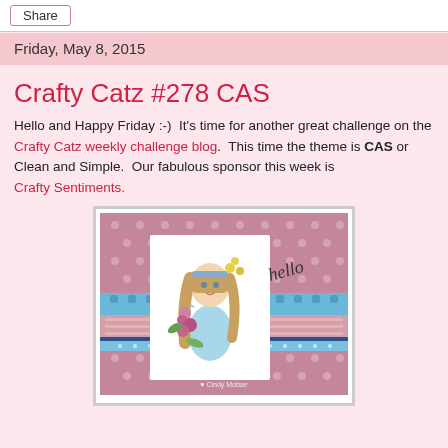Share
Friday, May 8, 2015
Crafty Catz #278 CAS
Hello and Happy Friday :-)  It's time for another great challenge on the Crafty Catz weekly challenge blog.  This time the theme is CAS or Clean and Simple.  Our fabulous sponsor this week is Crafty Sentiments.
[Figure (photo): A handmade greeting card with a pink polka-dot background, featuring an anime-style girl illustration surrounded by flowers and roses, a blue lace ribbon strip, a glittery pink band, a 'hello' script stamp, and a watermark reading Cindy Motser.]